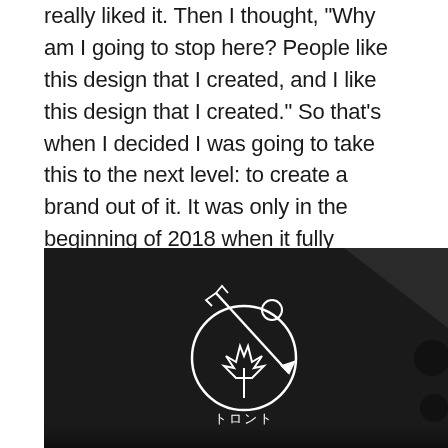really liked it. Then I thought, "Why am I going to stop here? People like this design that I created, and I like this design that I created." So that's when I decided I was going to take this to the next level: to create a brand out of it. It was only in the beginning of 2018 when it fully materialized. Then the launch happened in June. The concept had been there for almost a year, but the brand came into existence only very recently.
[Figure (photo): Close-up photo of a black fabric item (appears to be a bag or clothing) with a white embroidered logo featuring a stylized design with Japanese katakana characters reading 'Toronto', a maple leaf, a circle, and a needle or arrow motif.]